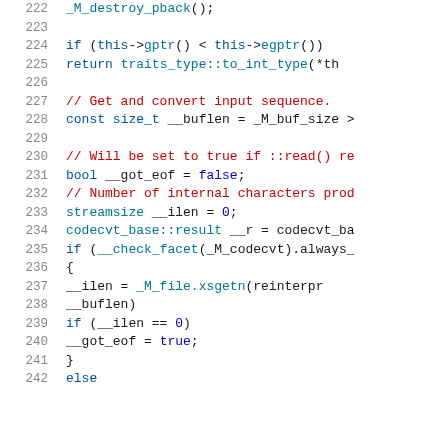Code listing lines 222-242, C++ source code
222     _M_destroy_pback();
223     (blank)
224     if (this->gptr() < this->egptr())
225       return traits_type::to_int_type(*th
226     (blank)
227     // Get and convert input sequence.
228     const size_t __buflen = _M_buf_size >
229     (blank)
230     // Will be set to true if ::read() re
231     bool __got_eof = false;
232     // Number of internal characters prod
233     streamsize __ilen = 0;
234     codecvt_base::result __r = codecvt_ba
235     if (__check_facet(_M_codecvt).always_
236       {
237         __ilen = _M_file.xsgetn(reinterpr
238                                   __buflen)
239         if (__ilen == 0)
240           __got_eof = true;
241       }
242     else